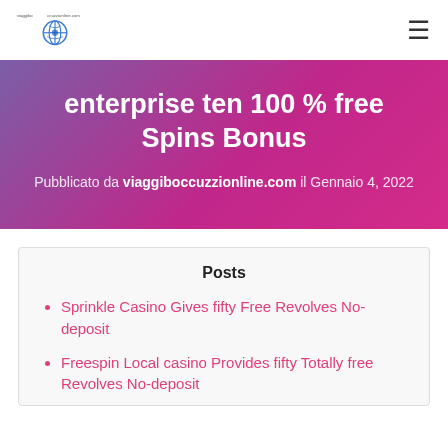viaggiboccuzzionline.com
enterprise ten 100 % free Spins Bonus
Pubblicato da viaggiboccuzzionline.com il Gennaio 4, 2022
Posts
Sprinkle Casino Gives fifty Free Revolves No-deposit
Freespin Local casino Provides fifty Totally free Revolves No-deposit